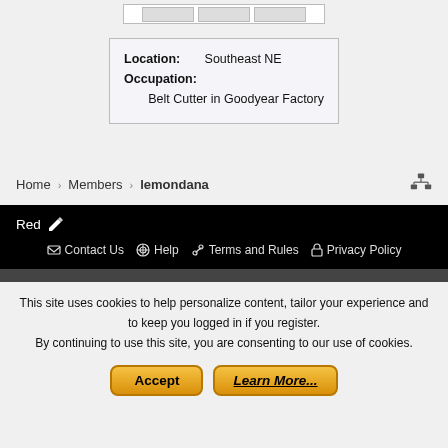|   |   |   |
| Location: | Southeast NE |
| Occupation: |  |
|  | Belt Cutter in Goodyear Factory |
Home › Members › lemondana
Red ✏
✉ Contact Us  ⊕ Help  🔑 Terms and Rules  🔒 Privacy Policy
This site uses cookies to help personalize content, tailor your experience and to keep you logged in if you register.
By continuing to use this site, you are consenting to our use of cookies.
Accept   Learn More...